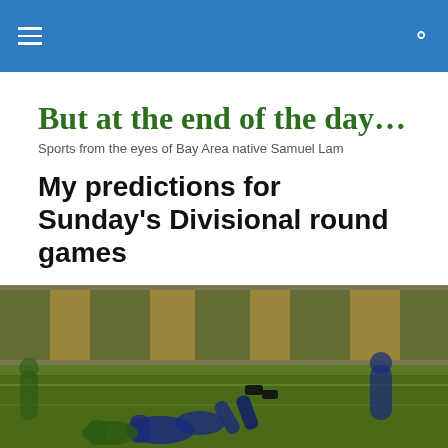But at the end of the day... [navigation header with hamburger menu and search icon]
But at the end of the day…
Sports from the eyes of Bay Area native Samuel Lam
My predictions for Sunday's Divisional round games
Here are my predictions for the second round of the playoffs.
[Figure (photo): Football players on the field during a game, with a crowd in the background wearing green and gold (Green Bay Packers) colors, and players in blue (Dallas Cowboys) uniforms.]